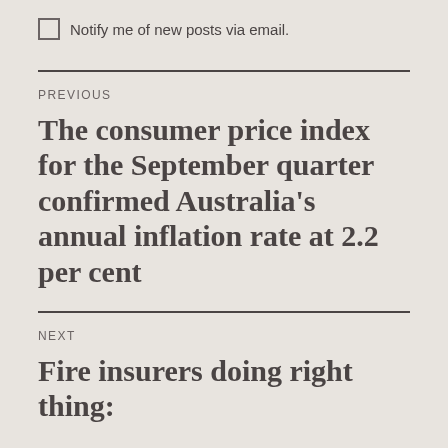Notify me of new posts via email.
PREVIOUS
The consumer price index for the September quarter confirmed Australia's annual inflation rate at 2.2 per cent
NEXT
Fire insurers doing right thing: